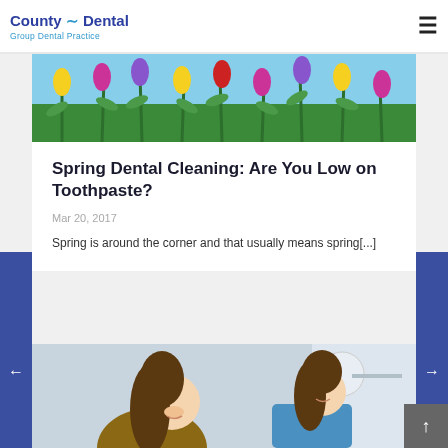County Dental — Group Dental Practice
[Figure (photo): Colorful spring tulips (yellow, pink, purple) with green stems against a blue sky background]
Spring Dental Cleaning: Are You Low on Toothpaste?
Mar 20, 2017
Spring is around the corner and that usually means spring[...]
[Figure (photo): Dental office scene with a female patient and a female dental professional in blue scrubs, both smiling, dental equipment visible in background]